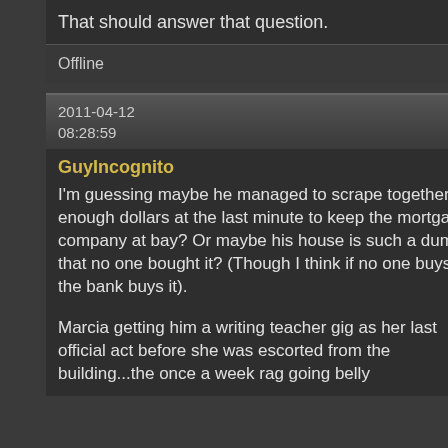That should answer that question.
Offline
2011-04-12  #24
08:28:59
GuyIncognito
I'm guessing maybe he managed to scrape together enough dollars at the last minute to keep the mortgage company at bay?  Or maybe his house is such a dump that no one bought it?  (Though I think if no one buys it the bank buys it).

Marcia getting him a writing teacher gig as her last official act before she was escorted from the building...the once a week rag going belly